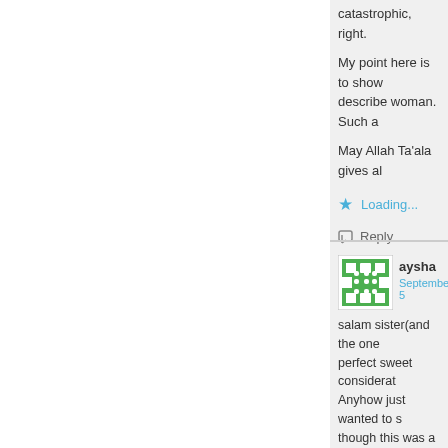catastrophic, right.
My point here is to show describe woman. Such a
May Allah Ta'ala gives al
★ Loading...
Reply
aysha
September 5
salam sister(and the one perfect sweet considerat Anyhow just wanted to s though this was a family he said after the wedding kids, etc, i kind of got inv back home, but then for he denied it, to some ex